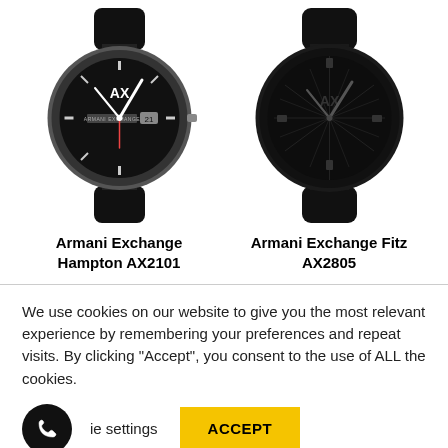[Figure (photo): Armani Exchange Hampton AX2101 watch with black leather strap and silver-toned case, black dial with AX logo]
Armani Exchange Hampton AX2101
[Figure (photo): Armani Exchange Fitz AX2805 watch with black leather strap and all-black case, black dial with AX logo]
Armani Exchange Fitz AX2805
We use cookies on our website to give you the most relevant experience by remembering your preferences and repeat visits. By clicking “Accept”, you consent to the use of ALL the cookies.
ie settings
ACCEPT